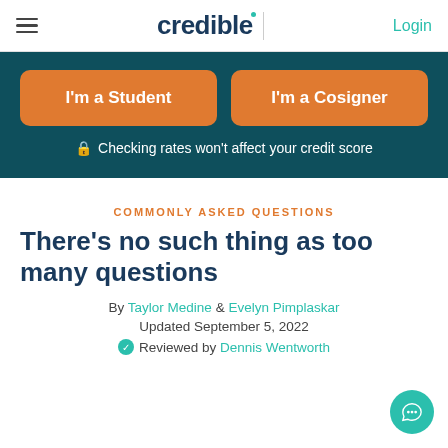credible | Login
[Figure (screenshot): Credible website header with hamburger menu, Credible logo, and Login link]
I'm a Student
I'm a Cosigner
🔒 Checking rates won't affect your credit score
COMMONLY ASKED QUESTIONS
There's no such thing as too many questions
By Taylor Medine & Evelyn Pimplaskar
Updated September 5, 2022
✔ Reviewed by Dennis Wentworth